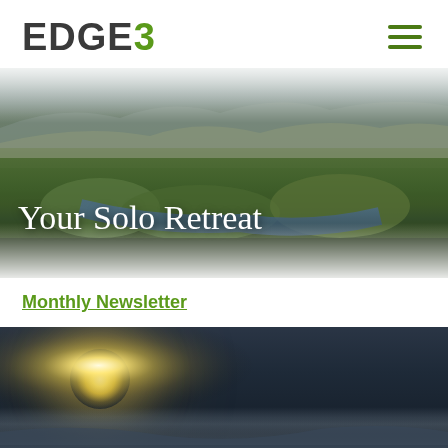[Figure (logo): EDGE3 logo with EDGE in dark gray and 3 in green]
[Figure (photo): Aerial landscape photo of a lake surrounded by autumn forest with mountains in the background, overcast sky]
Your Solo Retreat
Monthly Newsletter
[Figure (photo): Night sky photo with bright moon glowing through clouds, dark blue-grey tones]